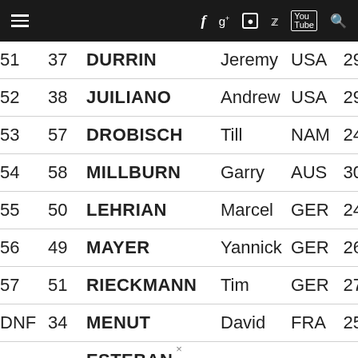Navigation header with hamburger menu and social icons: facebook, google+, instagram, twitter, youtube, search
| Pos | No | Last Name | First Name | Nat | Age |
| --- | --- | --- | --- | --- | --- |
| 51 | 37 | DURRIN | Jeremy | USA | 29 |
| 52 | 38 | JUILIANO | Andrew | USA | 29 |
| 53 | 57 | DROBISCH | Till | NAM | 24 |
| 54 | 58 | MILLBURN | Garry | AUS | 30 |
| 55 | 50 | LEHRIAN | Marcel | GER | 24 |
| 56 | 49 | MAYER | Yannick | GER | 26 |
| 57 | 51 | RIECKMANN | Tim | GER | 27 |
| DNF | 34 | MENUT | David | FRA | 25 |
| DNF | 39 | ESTEBAN AGUERO | Ismael | ESP | 34 |
| DNF | 52 | HARING | Martin | SVK | 31 |
×